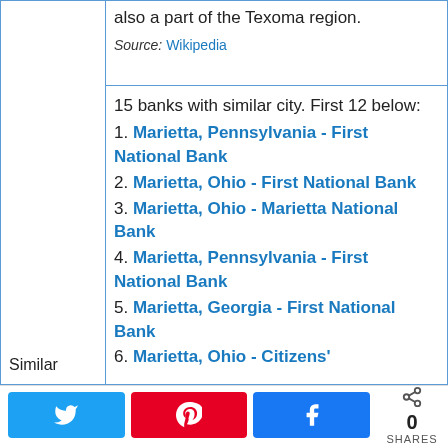also a part of the Texoma region.
Source: Wikipedia
15 banks with similar city. First 12 below:
1. Marietta, Pennsylvania - First National Bank
2. Marietta, Ohio - First National Bank
3. Marietta, Ohio - Marietta National Bank
4. Marietta, Pennsylvania - First National Bank
5. Marietta, Georgia - First National Bank
6. Marietta, Ohio - Citizens'
Similar